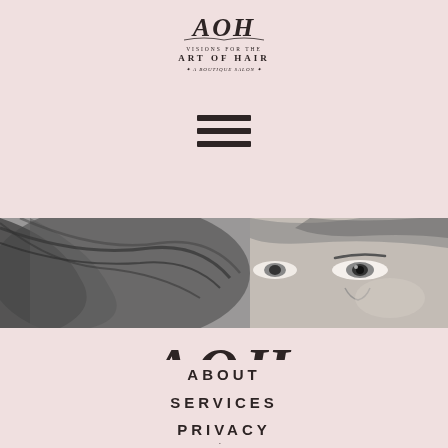[Figure (logo): Small AOH Visions for the Art of Hair boutique salon logo at top]
[Figure (infographic): Hamburger menu icon with three horizontal bars]
[Figure (photo): Black and white banner photo of a woman with flowing hair covering half her face]
[Figure (logo): Large center AOH Visions for the Art of Hair A Boutique Salon logo]
ABOUT
SERVICES
PRIVACY